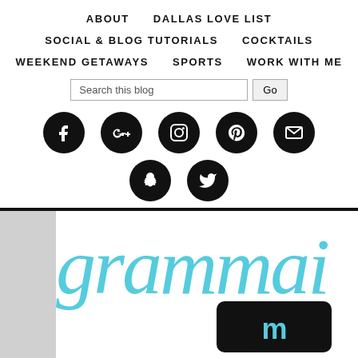ABOUT   DALLAS LOVE LIST   SOCIAL & BLOG TUTORIALS   COCKTAILS   WEEKEND GETAWAYS   SPORTS   WORK WITH ME
Search this blog [Go]
[Figure (infographic): Social media icon buttons: Facebook, Google+, Instagram, Pinterest, Email, Snapchat, Twitter — black circular icons with white symbols]
[Figure (logo): Grammarly-style banner with light blue italic text reading 'gramm...' partially visible, with a dark stylized logo in bottom right]